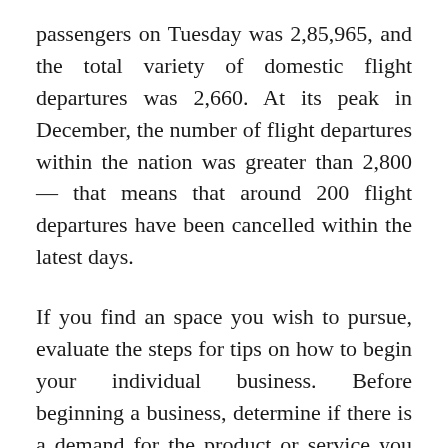passengers on Tuesday was 2,85,965, and the total variety of domestic flight departures was 2,660. At its peak in December, the number of flight departures within the nation was greater than 2,800 — that means that around 200 flight departures have been cancelled within the latest days.
If you find an space you wish to pursue, evaluate the steps for tips on how to begin your individual business. Before beginning a business, determine if there is a demand for the product or service you need to present. Many of the most effective small business